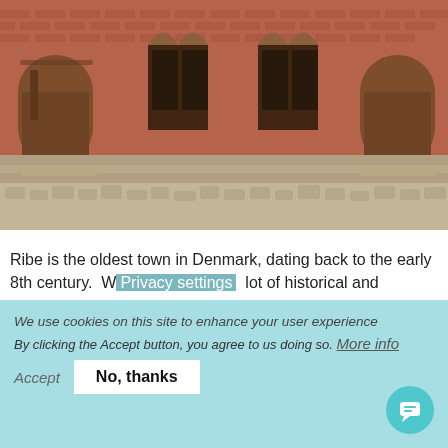[Figure (photo): Photograph of a red brick historical building with arched doorways and windows, cobblestone courtyard in foreground]
Ribe is the oldest town in Denmark, dating back to the early 8th century. W lot of historical and
Privacy settings
We use cookies on this site to enhance your user experience
By clicking the Accept button, you agree to us doing so. More info
Accept
No, thanks